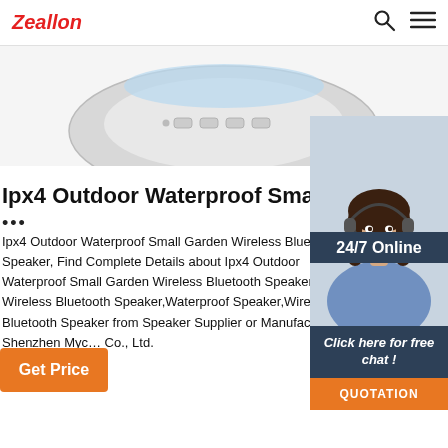Zeallon
[Figure (photo): Partial top view of a round white Bluetooth speaker with control buttons on top, light blue glow visible]
Ipx4 Outdoor Waterproof Small Garden Wir…
…
Ipx4 Outdoor Waterproof Small Garden Wireless Bluetooth Speaker, Find Complete Details about Ipx4 Outdoor Waterproof Small Garden Wireless Bluetooth Speaker,Small Wireless Bluetooth Speaker,Waterproof Speaker,Wireless Bluetooth Speaker from Speaker Supplier or Manufacturer-Shenzhen Myc… Co., Ltd.
[Figure (photo): 24/7 Online support widget with a female customer service representative wearing a headset, with 'Click here for free chat!' text and an orange QUOTATION button]
Get Price